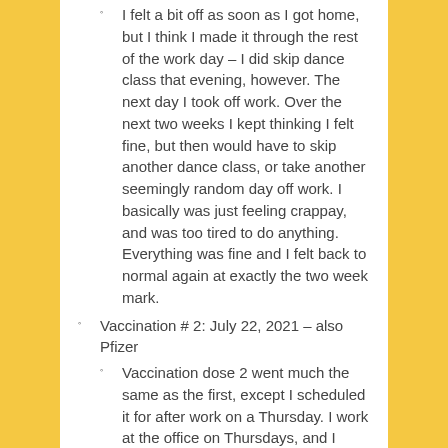I felt a bit off as soon as I got home, but I think I made it through the rest of the work day – I did skip dance class that evening, however. The next day I took off work. Over the next two weeks I kept thinking I felt fine, but then would have to skip another dance class, or take another seemingly random day off work. I basically was just feeling crappay, and was too tired to do anything. Everything was fine and I felt back to normal again at exactly the two week mark.
Vaccination # 2: July 22, 2021 – also Pfizer
Vaccination dose 2 went much the same as the first, except I scheduled it for after work on a Thursday. I work at the office on Thursdays, and I pass by the Convention Centre on the way home.
Same thing with feeling randomly